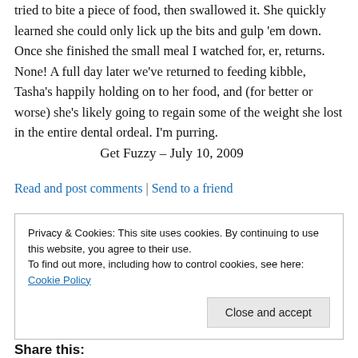tried to bite a piece of food, then swallowed it. She quickly learned she could only lick up the bits and gulp 'em down. Once she finished the small meal I watched for, er, returns. None! A full day later we've returned to feeding kibble, Tasha's happily holding on to her food, and (for better or worse) she's likely going to regain some of the weight she lost in the entire dental ordeal. I'm purring.
Get Fuzzy – July 10, 2009
Read and post comments | Send to a friend
Privacy & Cookies: This site uses cookies. By continuing to use this website, you agree to their use.
To find out more, including how to control cookies, see here: Cookie Policy
Close and accept
Share this: